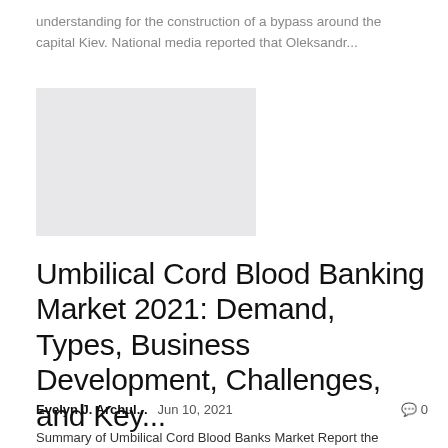understanding for the construction of a bypass around the capital Kiev. National media reported that Oleksandr...
[Figure (photo): Gray placeholder thumbnail image for article]
Umbilical Cord Blood Banking Market 2021: Demand, Types, Business Development, Challenges, and Key...
Evelyn J. Archul...   Jun 10, 2021   🗨 0
Summary of Umbilical Cord Blood Banks Market Report the